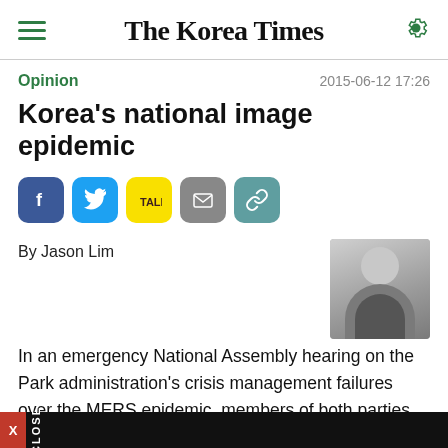The Korea Times
Opinion
2015-06-12 17:26
Korea's national image epidemic
[Figure (other): Social sharing buttons: Facebook, Twitter, KakaoTalk, Email, Link]
By Jason Lim
[Figure (photo): Black and white headshot photo of Jason Lim, an Asian man in a suit]
In an emergency National Assembly hearing on the Park administration's crisis management failures over the MERS epidemic, members of both parties repeatedly suggested to Moon Hyeong-pyo, Minister of Health and Welfare, that the government raise its disease alert level from